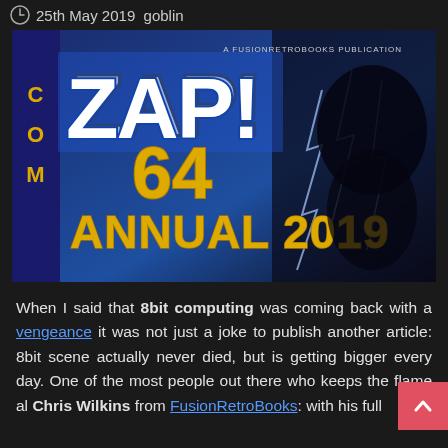25th May 2019  goblin
[Figure (photo): Cover of Zzap! 64 Annual 2019, a FusionRetroBooks publication. Blue and dark background with large stylized 'Zzap! 64' logo in white and yellow, 'ANNUAL 2019' text in bold yellow, and 'COM' text on the left spine. Dark superhero/villain figure on the right side.]
When I said that 8bit computing was coming back with a vengeance it was not just a joke to publish another article: 8bit scene actually never died, but is getting bigger every day. One of the most [obscured] people out there who keeps the flame al[ive is] Chris Wilkins from FusionRetroBooks: with his full